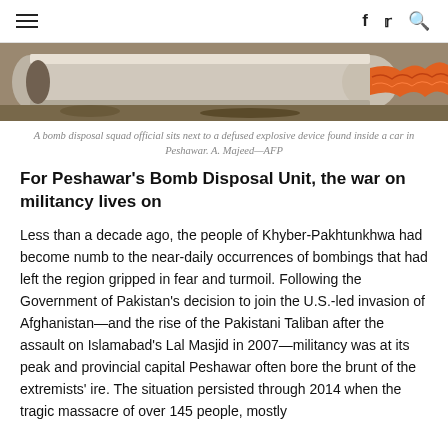≡  f  ✓  🔍
[Figure (photo): A bomb disposal scene showing a defused explosive device — cylindrical metal object with an orange corrugated hose/wire, lying on rubble or ground.]
A bomb disposal squad official sits next to a defused explosive device found inside a car in Peshawar. A. Majeed—AFP
For Peshawar's Bomb Disposal Unit, the war on militancy lives on
Less than a decade ago, the people of Khyber-Pakhtunkhwa had become numb to the near-daily occurrences of bombings that had left the region gripped in fear and turmoil. Following the Government of Pakistan's decision to join the U.S.-led invasion of Afghanistan—and the rise of the Pakistani Taliban after the assault on Islamabad's Lal Masjid in 2007—militancy was at its peak and provincial capital Peshawar often bore the brunt of the extremists' ire. The situation persisted through 2014 when the tragic massacre of over 145 people, mostly